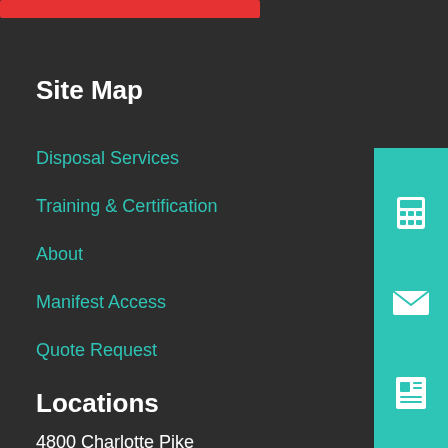[Figure (other): Red button or bar at top of page]
Site Map
Disposal Services
Training & Certification
About
Manifest Access
Quote Request
Locations
4800 Charlotte Pike
Nashville, TN 37209
[Figure (other): Teal sidebar with calculator icon, email/envelope icon, and newspaper/document icon]